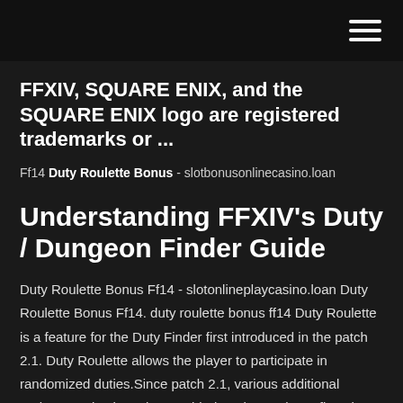FFXIV, SQUARE ENIX, and the SQUARE ENIX logo are registered trademarks or ...
Ff14 Duty Roulette Bonus - slotbonusonlinecasino.loan
Understanding FFXIV's Duty / Dungeon Finder Guide
Duty Roulette Bonus Ff14 - slotonlineplaycasino.loan Duty Roulette Bonus Ff14. duty roulette bonus ff14 Duty Roulette is a feature for the Duty Finder first introduced in the patch 2.1. Duty Roulette allows the player to participate in randomized duties.Since patch 2.1, various additional roulette modes have been added or changed to reflect the changing state of the game.Final Fantasy XIV: A Realm